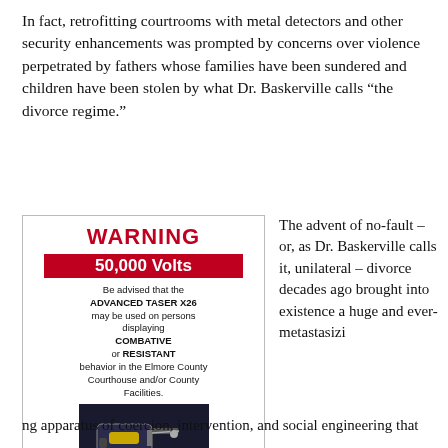In fact, retrofitting courtrooms with metal detectors and other security enhancements was prompted by concerns over violence perpetrated by fathers whose families have been sundered and children have been stolen by what Dr. Baskerville calls “the divorce regime.”
[Figure (photo): A warning sign posted in a courthouse reading WARNING 50,000 Volts, advising that the ADVANCED TASER X26 may be used on persons displaying COMBATIVE or RESISTANT behavior in the Elmore County Courthouse and/or County Facilities. Below the text is an image of a taser device.]
The advent of no-fault – or, as Dr. Baskerville calls it, unilateral – divorce decades ago brought into existence a huge and ever-metastasizing apparatus of coercion, intervention, and social engineering that
ng apparatus of coercion, intervention, and social engineering that